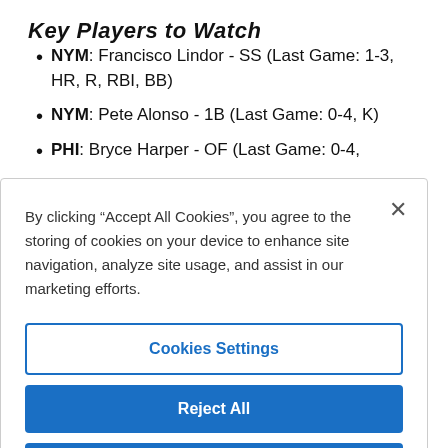Key Players to Watch
NYM: Francisco Lindor - SS (Last Game: 1-3, HR, R, RBI, BB)
NYM: Pete Alonso - 1B (Last Game: 0-4, K)
PHI: Bryce Harper - OF (Last Game: 0-4,
By clicking “Accept All Cookies”, you agree to the storing of cookies on your device to enhance site navigation, analyze site usage, and assist in our marketing efforts.
Cookies Settings
Reject All
Accept All Cookies